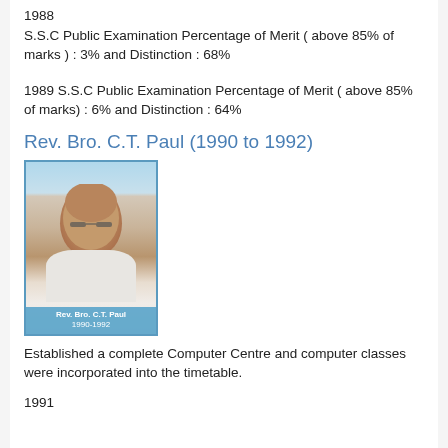1988
S.S.C Public Examination Percentage of Merit (above 85% of marks) : 3% and Distinction : 68%
1989 S.S.C Public Examination Percentage of Merit (above 85% of marks) : 6% and Distinction : 64%
Rev. Bro. C.T. Paul (1990 to 1992)
[Figure (photo): Portrait photo of Rev. Bro. C.T. Paul with caption 'Rev. Bro. C.T. Paul 1990-1992']
Established a complete Computer Centre and computer classes were incorporated into the timetable.
1991